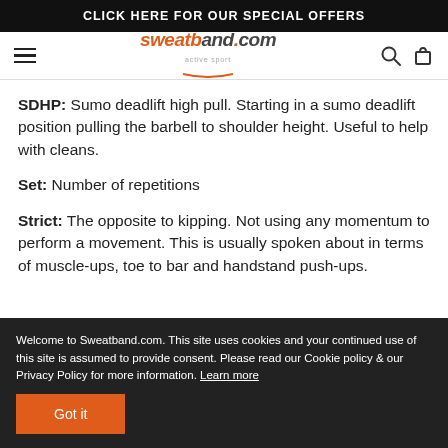CLICK HERE FOR OUR SPECIAL OFFERS
[Figure (logo): sweatband.com active sport logo with hamburger menu, search icon, and cart icon]
SDHP: Sumo deadlift high pull. Starting in a sumo deadlift position pulling the barbell to shoulder height. Useful to help with cleans.
Set: Number of repetitions
Strict: The opposite to kipping. Not using any momentum to perform a movement. This is usually spoken about in terms of muscle-ups, toe to bar and handstand push-ups.
Welcome to Sweatband.com. This site uses cookies and your continued use of this site is assumed to provide consent. Please read our Cookie policy & our Privacy Policy for more information. Learn more
Got it